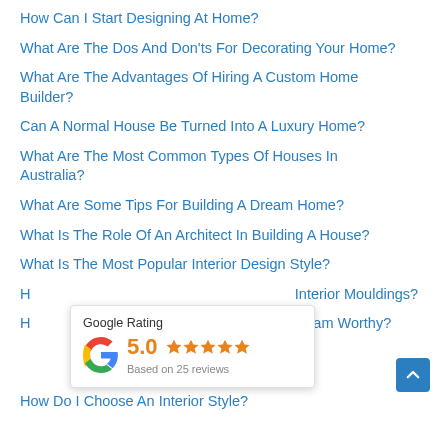How Can I Start Designing At Home?
What Are The Dos And Don'ts For Decorating Your Home?
What Are The Advantages Of Hiring A Custom Home Builder?
Can A Normal House Be Turned Into A Luxury Home?
What Are The Most Common Types Of Houses In Australia?
What Are Some Tips For Building A Dream Home?
What Is The Role Of An Architect In Building A House?
What Is The Most Popular Interior Design Style?
H... Interior Mouldings?
H... nstagram Worthy?
How Do I Choose An Interior Style?
[Figure (infographic): Google Rating widget showing 5.0 stars based on 25 reviews, with Google 'G' logo in red, yellow, blue, green colors.]